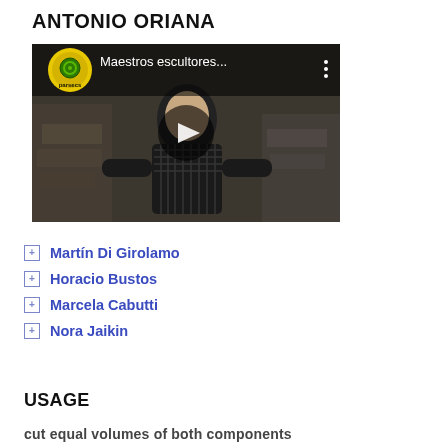ANTONIO ORIANA
[Figure (screenshot): YouTube video thumbnail showing a person in a workshop/studio with sculptural works. Video title reads 'Maestros escultores...' with parsecs channel logo (yellow/green circle) in top left corner and a play button in the center.]
Martín Di Girolamo
Horacio Bustos
Marcela Cabutti
Nora Jaikin
USAGE
cut equal volumes of both components